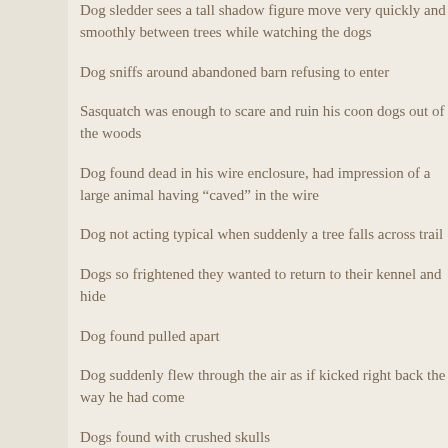Dog sledder sees a tall shadow figure move very quickly and smoothly between trees while watching the dogs
Dog sniffs around abandoned barn refusing to enter
Sasquatch was enough to scare and ruin his coon dogs out of the woods
Dog found dead in his wire enclosure, had impression of a large animal having “caved” in the wire
Dog not acting typical when suddenly a tree falls across trail
Dogs so frightened they wanted to return to their kennel and hide
Dog found pulled apart
Dog suddenly flew through the air as if kicked right back the way he had come
Dogs found with crushed skulls